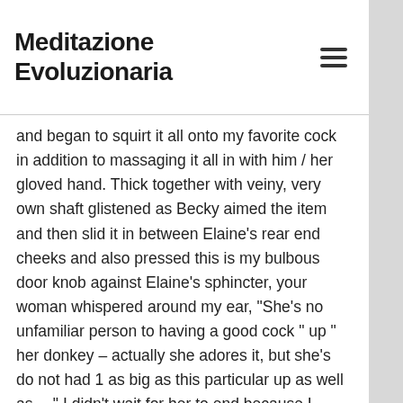Meditazione Evoluzionaria
and began to squirt it all onto my favorite cock in addition to massaging it all in with him / her gloved hand. Thick together with veiny, very own shaft glistened as Becky aimed the item and then slid it in between Elaine’s rear end cheeks and also pressed this is my bulbous door knob against Elaine’s sphincter, your woman whispered around my ear, “She’s no unfamiliar person to having a good cock ” up ” her donkey – actually she adores it, but she’s do not had 1 as big as this particular up as well as… ” I didn’t wait for her to end because I actually thrust my hips forwards and forced my plum straight into Elaine’s donkey! She cried out